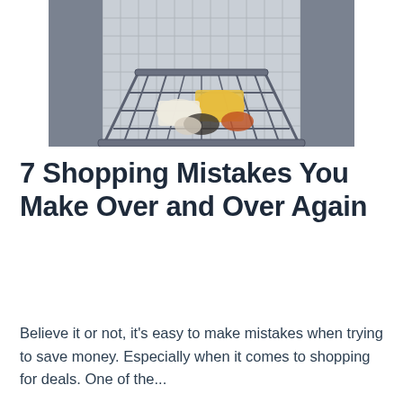[Figure (photo): Overhead view of a shopping cart filled with groceries in a supermarket aisle, looking down at the cart from above with store shelving visible on both sides in the background.]
7 Shopping Mistakes You Make Over and Over Again
Believe it or not, it's easy to make mistakes when trying to save money. Especially when it comes to shopping for deals. One of the...